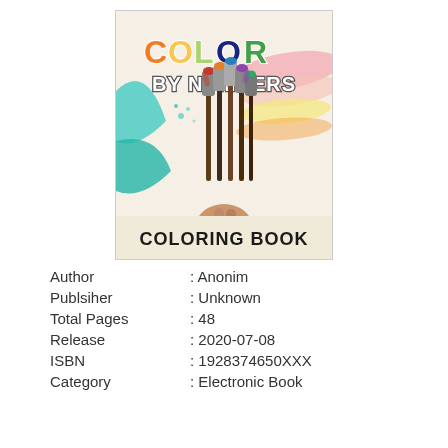[Figure (illustration): Book cover for 'Color by Numbers Coloring Book' showing colorful text with C, L, O, R in orange, yellow, blue, green; 'BY NUMBERS' in white bubble letters; a hand holding paint brushes; teal paint splashes; and 'COLORING BOOK' in bold black text at bottom on cream background.]
Author : Anonim
Publsiher : Unknown
Total Pages : 48
Release : 2020-07-08
ISBN : 1928374650XXX
Category : Electronic Book